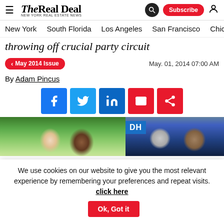The Real Deal — New York Real Estate News
throwing off crucial party circuit
May 2014 Issue | May. 01, 2014 07:00 AM
By Adam Pincus
[Figure (other): Social share buttons: Facebook, Twitter, LinkedIn, Email, Share]
[Figure (photo): Two photos side by side: left shows two women at an outdoor event, right shows two men at an indoor event with DH signage]
We use cookies on our website to give you the most relevant experience by remembering your preferences and repeat visits. click here | Ok, Got it